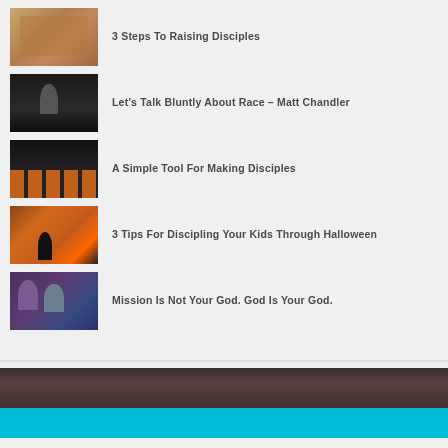3 Steps To Raising Disciples
Let’s Talk Bluntly About Race – Matt Chandler
A Simple Tool For Making Disciples
3 Tips For Discipling Your Kids Through Halloween
Mission Is Not Your God. God Is Your God.
[Figure (photo): Bottom banner with dark photograph of a person and a cyan/teal bar below]